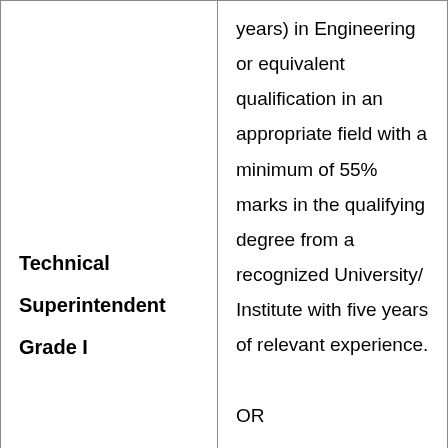| Technical Superintendent Grade I | years) in Engineering or equivalent qualification in an appropriate field with a minimum of 55% marks in the qualifying degree from a recognized University/ Institute with five years of relevant experience.
OR
Bachelor's Degree in Science or equivalent in an appropriate field with a |